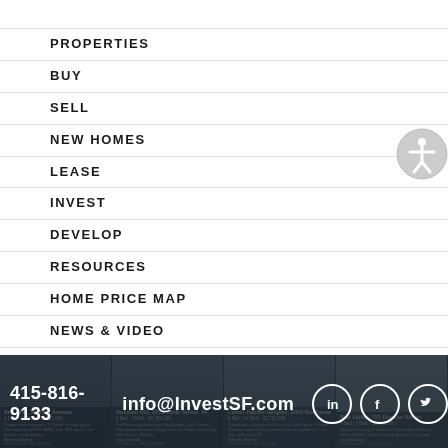PROPERTIES
BUY
SELL
NEW HOMES
LEASE
INVEST
DEVELOP
RESOURCES
HOME PRICE MAP
NEWS & VIDEO
MARKET INTEL
TEAM
415-816-9133  info@InvestSF.com